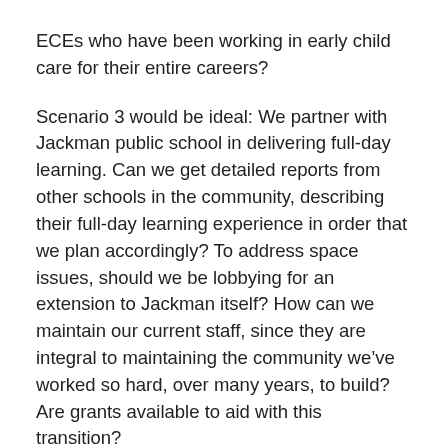ECEs who have been working in early child care for their entire careers?
Scenario 3 would be ideal: We partner with Jackman public school in delivering full-day learning. Can we get detailed reports from other schools in the community, describing their full-day learning experience in order that we plan accordingly? To address space issues, should we be lobbying for an extension to Jackman itself? How can we maintain our current staff, since they are integral to maintaining the community we've worked so hard, over many years, to build? Are grants available to aid with this transition?
In closing, the verbs “link” and “integrate,” along with “community,” figure largely in the descriptions and explanations that detail the thinking and process in which full-day learning, according to the recommendations of Dr. Pascal, is to be realized, starting this very September. We started thinking and planning long ago and are really